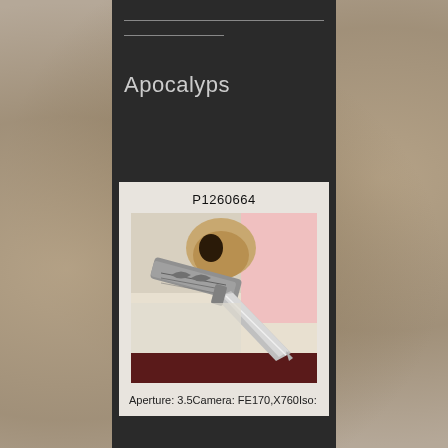Apocalyps
P1260664
[Figure (photo): Close-up photo of an ornately engraved silver dagger with decorative handle, resting on white fabric and dark red cloth, with a skull partially visible in the background and pink fabric on the right]
Aperture: 3.5Camera: FE170,X760Iso: